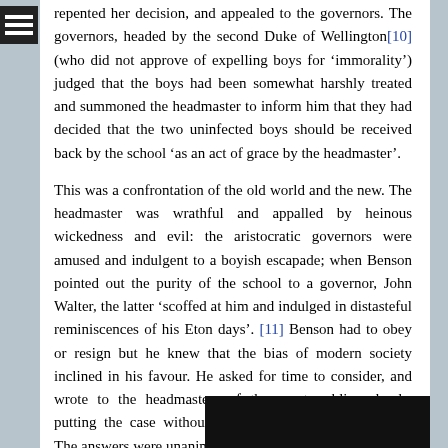repented her decision, and appealed to the governors. The governors, headed by the second Duke of Wellington[10] (who did not approve of expelling boys for 'immorality') judged that the boys had been somewhat harshly treated and summoned the headmaster to inform him that they had decided that the two uninfected boys should be received back by the school 'as an act of grace by the headmaster'.
This was a confrontation of the old world and the new. The headmaster was wrathful and appalled by heinous wickedness and evil: the aristocratic governors were amused and indulgent to a boyish escapade; when Benson pointed out the purity of the school to a governor, John Walter, the latter 'scoffed at him and indulged in distasteful reminiscences of his Eton days'. [11] Benson had to obey or resign but he knew that the bias of modern society inclined in his favour. He asked for time to consider, and wrote to the headmasters of the great public schools, putting the case without mentioning the decision taken. The answers were unanimous that the boys must go.
At his next
[Figure (photo): A dark/black photograph partially visible at the bottom right of the page]